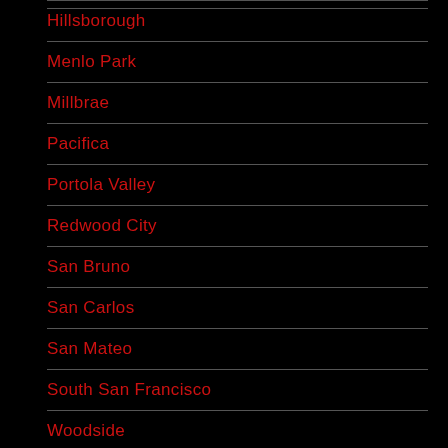Hillsborough
Menlo Park
Millbrae
Pacifica
Portola Valley
Redwood City
San Bruno
San Carlos
San Mateo
South San Francisco
Woodside
About Us
Our Promises to Our Clients